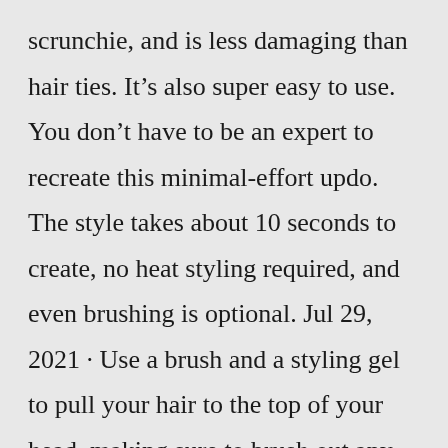scrunchie, and is less damaging than hair ties. It's also super easy to use. You don't have to be an expert to recreate this minimal-effort updo. The style takes about 10 seconds to create, no heat styling required, and even brushing is optional. Jul 29, 2021 · Use a brush and a styling gel to pull your hair to the top of your head, making sure to brush out any creases or bumps. Gather your hair into a pony and tie